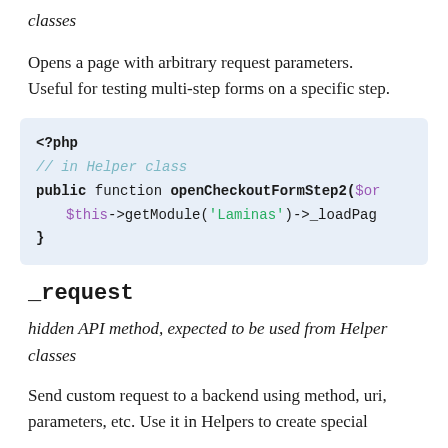classes
Opens a page with arbitrary request parameters. Useful for testing multi-step forms on a specific step.
_request
hidden API method, expected to be used from Helper classes
Send custom request to a backend using method, uri, parameters, etc. Use it in Helpers to create special